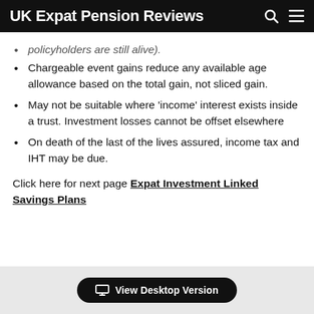UK Expat Pension Reviews
policyholders are still alive).
Chargeable event gains reduce any available age allowance based on the total gain, not sliced gain.
May not be suitable where 'income' interest exists inside a trust. Investment losses cannot be offset elsewhere
On death of the last of the lives assured, income tax and IHT may be due.
Click here for next page Expat Investment Linked Savings Plans
View Desktop Version